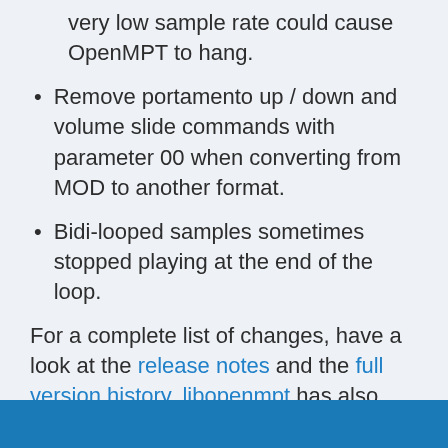very low sample rate could cause OpenMPT to hang.
Remove portamento up / down and volume slide commands with parameter 00 when converting from MOD to another format.
Bidi-looped samples sometimes stopped playing at the end of the loop.
For a complete list of changes, have a look at the release notes and the full version history. libopenmpt has also been updated with the same playback fixes.